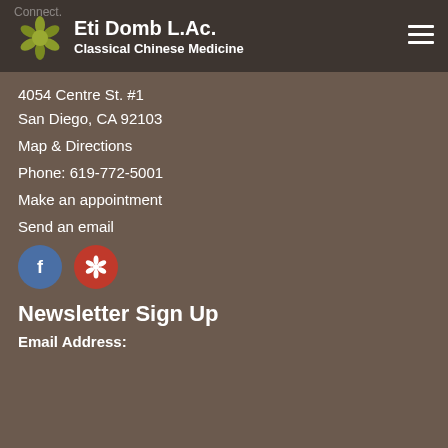Eti Domb L.Ac. Classical Chinese Medicine
Connect.
4054 Centre St. #1
San Diego, CA 92103
Map & Directions
Phone: 619-772-5001
Make an appointment
Send an email
[Figure (logo): Facebook and Yelp social media icon buttons]
Newsletter Sign Up
Email Address: